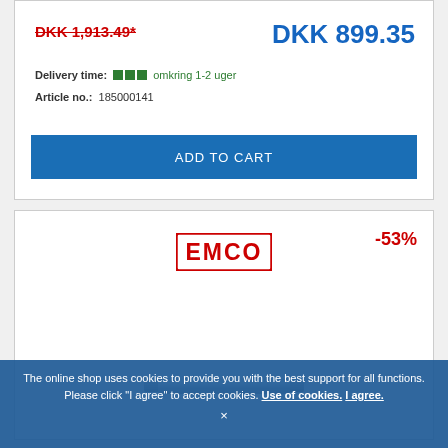EMCO Liaison - Towel bar chrom
DKK 1,913.49*
DKK 899.35
Delivery time: omkring 1-2 uger
Article no.: 185000141
ADD TO CART
[Figure (logo): EMCO logo in red with block letters]
-53%
[Figure (photo): Chrome towel bar product photo]
The online shop uses cookies to provide you with the best support for all functions. Please click "I agree" to accept cookies. Use of cookies. I agree. ×